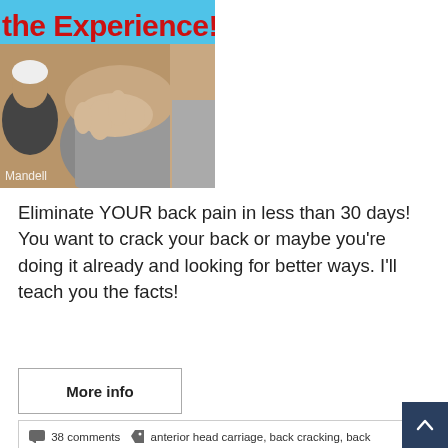[Figure (photo): Photo of a chiropractor treating a patient's back. Text overlay at top reads 'the Experience! Lis' in red on blue background. Watermark 'Mandell' in bottom left corner.]
Eliminate YOUR back pain in less than 30 days! You want to crack your back or maybe you're doing it already and looking for better ways. I'll teach you the facts!
More info
38 comments  anterior head carriage, back cracking, back pain, bulging disc, buttocks, chiropractor, cracking back, cracking low back, cracking mid back, cracking neck, disc degeneration, exercises, facet syndrome, fibromyalgia, forward head posture, headache, herniated disc, hunchback, intercostal neuritis, kyphosis, mid back pain, neck pain, neuropathy, pinched nerve